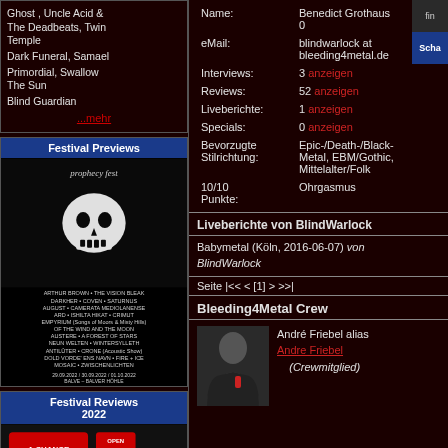Ghost , Uncle Acid & The Deadbeats, Twin Temple
Dark Funeral, Samael
Primordial, Swallow The Sun
Blind Guardian
...mehr
Festival Previews
[Figure (photo): Prophecy Fest festival poster with skull graphic and band lineup]
Festival Reviews 2022
[Figure (photo): Festival Reviews 2022 image with Chance Metal Open Air and Sacreo logos]
Name: Benedict Grothaus 0
eMail: blindwarlock at bleeding4metal.de
Interviews: 3 anzeigen
Reviews: 52 anzeigen
Liveberichte: 1 anzeigen
Specials: 0 anzeigen
Bevorzugte Stilrichtung: Epic-/Death-/Black-Metal, EBM/Gothic, Mittelalter/Folk
10/10 Punkte: Ohrgasmus
Liveberichte von BlindWarlock
Babymetal (Köln, 2016-06-07) von BlindWarlock
Seite |<< < [1] > >>|
Bleeding4Metal Crew
André Friebel alias Andre Friebel (Crewmitglied)